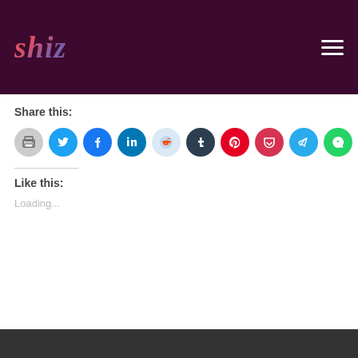shiz
Share this:
[Figure (infographic): Row of social share icon buttons: print (gray), Twitter (blue), Facebook (blue), LinkedIn (dark blue), Reddit (light blue), Tumblr (dark), Pinterest (red), Pocket (red), Telegram (blue), WhatsApp (green), Skype (blue)]
Like this:
Loading...